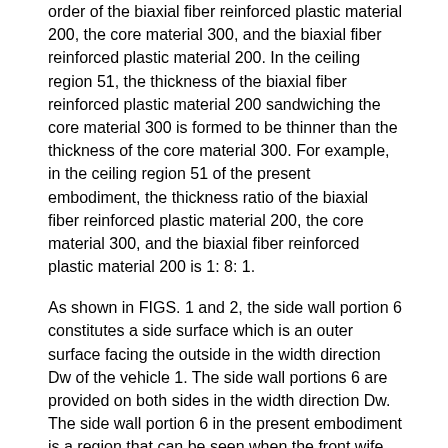order of the biaxial fiber reinforced plastic material 200, the core material 300, and the biaxial fiber reinforced plastic material 200. In the ceiling region 51, the thickness of the biaxial fiber reinforced plastic material 200 sandwiching the core material 300 is formed to be thinner than the thickness of the core material 300. For example, in the ceiling region 51 of the present embodiment, the thickness ratio of the biaxial fiber reinforced plastic material 200, the core material 300, and the biaxial fiber reinforced plastic material 200 is 1: 8: 1.
As shown in FIGS. 1 and 2, the side wall portion 6 constitutes a side surface which is an outer surface facing the outside in the width direction Dw of the vehicle 1. The side wall portions 6 are provided on both sides in the width direction Dw. The side wall portion 6 in the present embodiment is a region that can be seen when the front wife structure 3 is viewed from the width direction Dw. The side wall portion 6 is continuous with the front wall portion 4 and the ceiling wall portion 5. The side wall portion 6 extends in the vertical direction Dv and the front-rear direction Da. As shown in FIG. 4, the side wall portion 6 is formed by laminating two biaxial fiber reinforced plastic